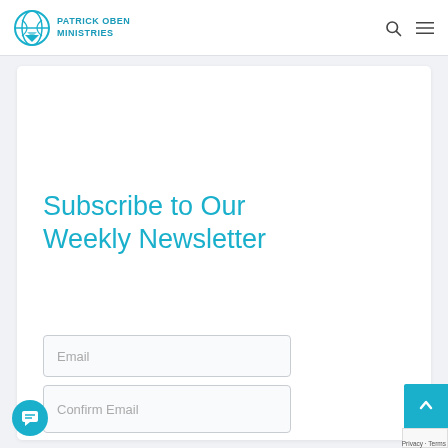PATRICK OBEN MINISTRIES
Subscribe to Our Weekly Newsletter
Email
Confirm Email
Privacy - Terms